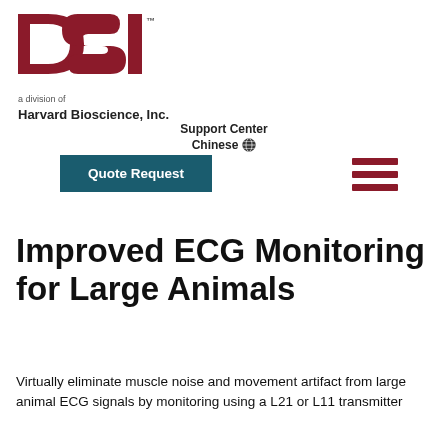[Figure (logo): DSI logo in dark red/crimson block letters with trademark symbol]
a division of
Harvard Bioscience, Inc.
Support Center
Chinese 🌐
Quote Request
Improved ECG Monitoring for Large Animals
Virtually eliminate muscle noise and movement artifact from large animal ECG signals by monitoring using a L21 or L11 transmitter